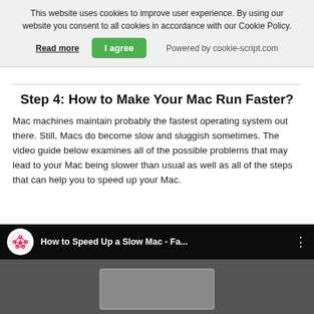This website uses cookies to improve user experience. By using our website you consent to all cookies in accordance with our Cookie Policy.
Read more | I agree | Powered by cookie-script.com
Step 4: How to Make Your Mac Run Faster?
Mac machines maintain probably the fastest operating system out there. Still, Macs do become slow and sluggish sometimes. The video guide below examines all of the possible problems that may lead to your Mac being slower than usual as well as all of the steps that can help you to speed up your Mac.
[Figure (screenshot): YouTube video thumbnail showing 'How to Speed Up a Slow Mac - Fa...' with a channel logo (red spider/network icon on white circle) and a dark video preview area with a laptop mock.]